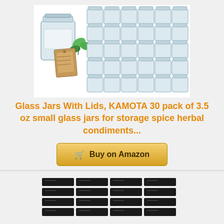[Figure (photo): Product image showing 30 small glass jars with lids arranged in a grid, with one large jar in foreground, green leaf decoration, and a brown kraft paper tag]
Glass Jars With Lids, KAMOTA 30 pack of 3.5 oz small glass jars for storage spice herbal condiments...
[Figure (photo): Grid of black label strips arranged in rows, showing spice jar labels]